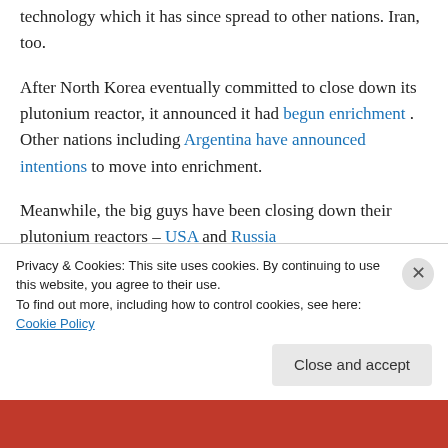technology which it has since spread to other nations. Iran, too.
After North Korea eventually committed to close down its plutonium reactor, it announced it had begun enrichment . Other nations including Argentina have announced intentions to move into enrichment.
Meanwhile, the big guys have been closing down their plutonium reactors – USA and Russia China prefers HEU
Privacy & Cookies: This site uses cookies. By continuing to use this website, you agree to their use.
To find out more, including how to control cookies, see here: Cookie Policy
Close and accept